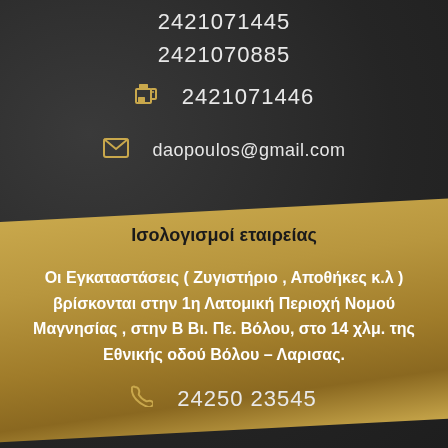2421071445
2421070885
2421071446
daopoulos@gmail.com
Ισολογισμοί εταιρείας
Οι Εγκαταστάσεις ( Ζυγιστήριο , Αποθήκες κ.λ ) βρίσκονται στην 1η Λατομική Περιοχή Νομού Μαγνησίας , στην Β Βι. Πε. Βόλου, στο 14 χλμ. της Εθνικής οδού Βόλου – Λαρισας.
24250 23545